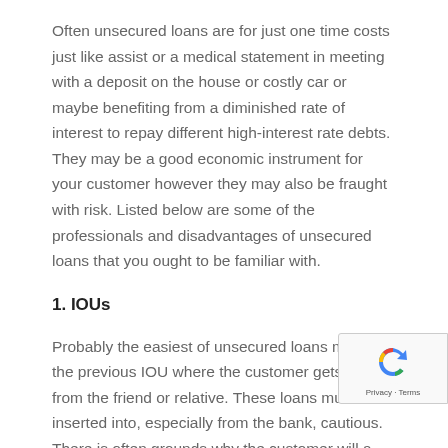Often unsecured loans are for just one time costs just like assist or a medical statement in meeting with a deposit on the house or costly car or maybe benefiting from a diminished rate of interest to repay different high-interest rate debts. They may be a good economic instrument for your customer however they may also be fraught with risk. Listed below are some of the professionals and disadvantages of unsecured loans that you ought to be familiar with.
1. IOUs
Probably the easiest of unsecured loans may be the previous IOU where the customer gets funds from the friend or relative. These loans must be inserted into, especially from the bank, cautious. There is often grounds why the customer will a...